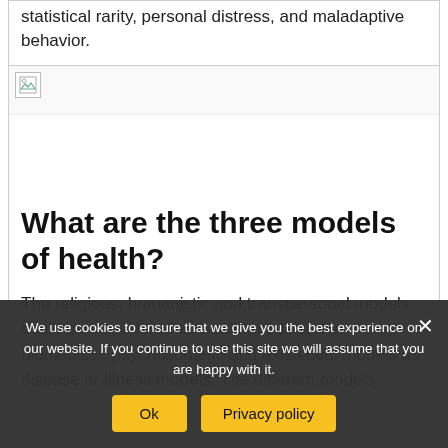statistical rarity, personal distress, and maladaptive behavior.
[Figure (photo): Broken image placeholder icon in top-left corner of image area]
What are the three models of health?
The religious, humanistic and transpersonal models could be considered as health models, the biomedical, psychosomatic and existential models as disease or illness models. The different models
We use cookies to ensure that we give you the best experience on our website. If you continue to use this site we will assume that you are happy with it.